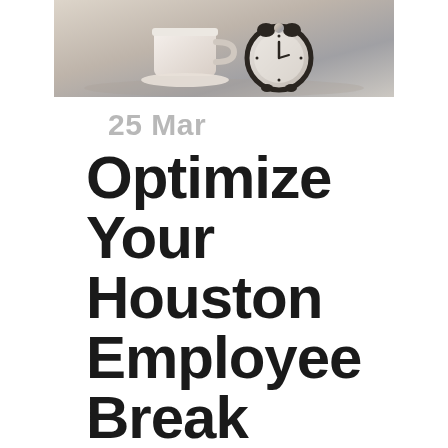[Figure (photo): Photo of a white coffee cup and a black alarm clock on a surface, slightly blurred background]
25 Mar
Optimize Your Houston Employee Break